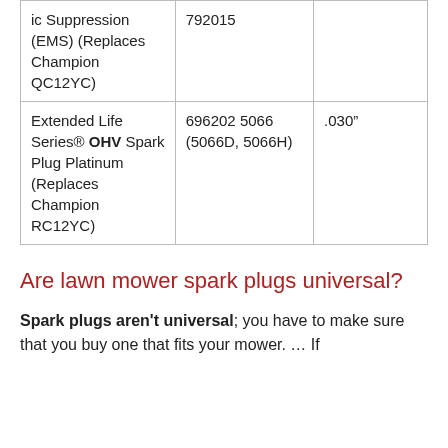| ic Suppression (EMS) (Replaces Champion QC12YC) | 792015 |  |
| Extended Life Series® OHV Spark Plug Platinum (Replaces Champion RC12YC) | 696202 5066 (5066D, 5066H) | .030" |
Are lawn mower spark plugs universal?
Spark plugs aren't universal; you have to make sure that you buy one that fits your mower. … If